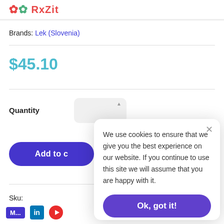RxZit (logo)
Brands: Lek (Slovenia)
$45.10
Quantity
Add to c[art]
Sku:
We use cookies to ensure that we give you the best experience on our website. If you continue to use this site we will assume that you are happy with it.
Ok, got it!
M... | in | [YouTube icon]